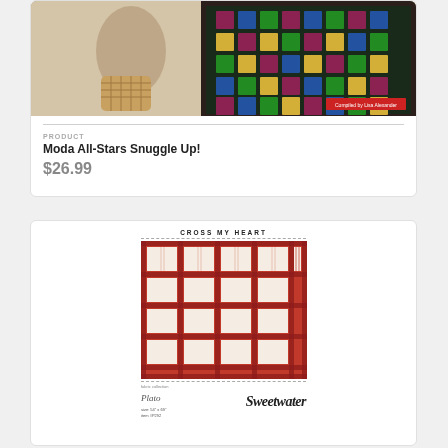[Figure (photo): Photo of a quilt draped over furniture, showing a dark floral pattern; compiled by Lisa Alexander text visible in red label on cover]
PRODUCT
Moda All-Stars Snuggle Up!
$26.99
[Figure (illustration): Quilt pattern named CROSS MY HEART featuring red and cream/white heart blocks in a plaid-style grid layout by Sweetwater fabric collection, size 54x69, item #P292]
CROSS MY HEART